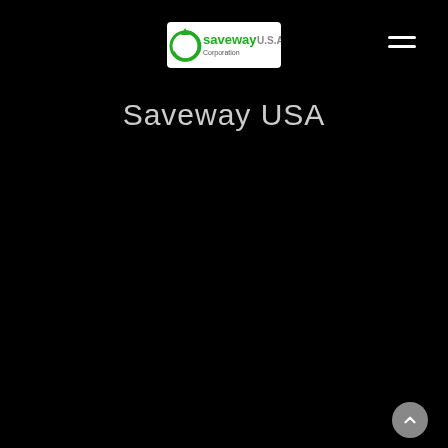[Figure (logo): Saveway USA Corporation logo — circular green arrow icon with 'saveway U.S.A. Corporation' text on white background]
Saveway USA
[Figure (screenshot): Software interface screenshot showing hot-spot temperature display and wear levels for a furnace location. Includes a thermal heatmap of a furnace cross-section (horseshoe shape with red/orange/yellow heat gradient), status indicators (Early Warning in yellow, Critical Wear in white, Self-Diagnosis OK in white), a hot spot temperatures data table, and wear level bar charts with green/yellow bars.]